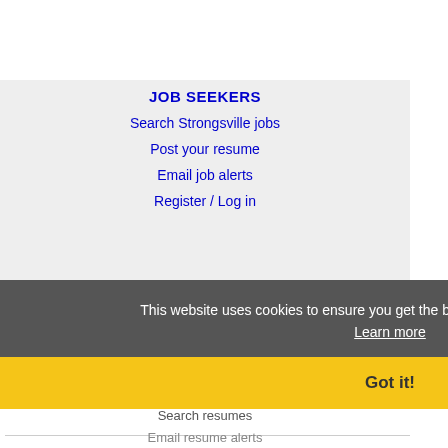JOB SEEKERS
Search Strongsville jobs
Post your resume
Email job alerts
Register / Log in
This website uses cookies to ensure you get the best experience on our website. Learn more
Got it!
EMPLOYERS
Post jobs
Search resumes
Email resume alerts
Advertise